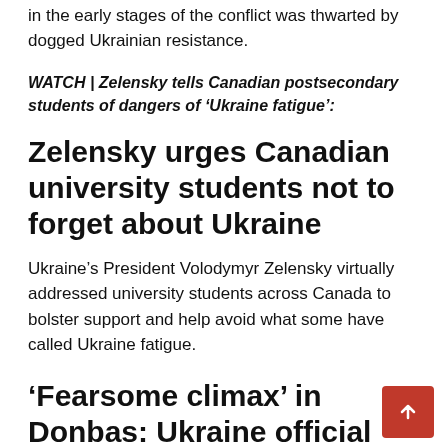in the early stages of the conflict was thwarted by dogged Ukrainian resistance.
WATCH | Zelensky tells Canadian postsecondary students of dangers of ‘Ukraine fatigue’:
Zelensky urges Canadian university students not to forget about Ukraine
Ukraine’s President Volodymyr Zelensky virtually addressed university students across Canada to bolster support and help avoid what some have called Ukraine fatigue.
‘Fearsome climax’ in Donbas: Ukraine official